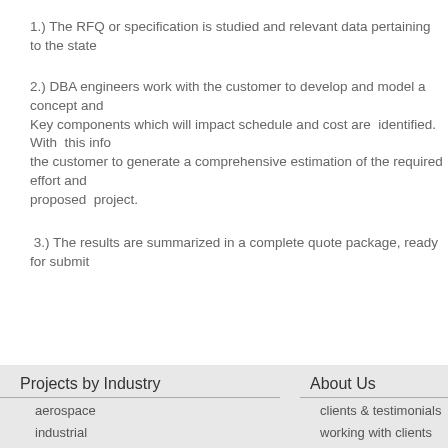1.)  The RFQ or specification is studied and relevant data pertaining to the state...
2.)  DBA engineers work with the customer to develop and model a concept and... Key components which will impact schedule and cost are identified. With this information DBA works with the customer to generate a comprehensive estimation of the required effort and... proposed project.
3.)  The results are summarized in a complete quote package, ready for submitt...
Projects by Industry | aerospace | industrial | About Us | clients & testimonials | working with clients